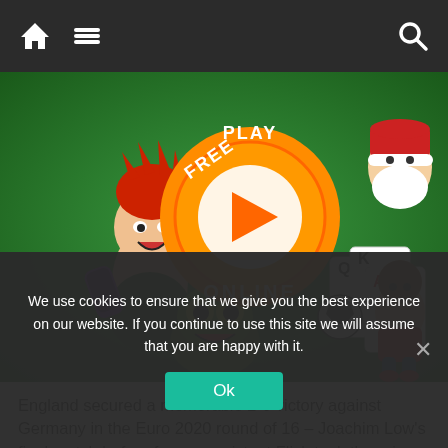Navigation bar with home icon, hamburger menu, and search icon
[Figure (illustration): Colorful gaming banner with cartoon characters: an anime-style boy with red hair, a green monster, a soccer ball, playing cards (Q, K, A), a Santa Claus figure, a chibi soccer player, and an orange 'FREE PLAY ONLINE' button with a play triangle in the center]
England secured a memorable 2-0 victory against Germany in the Euro 2020 round of 16 – Joachim Low's final match before former assistant Flick took the reins
We use cookies to ensure that we give you the best experience on our website. If you continue to use this site we will assume that you are happy with it.